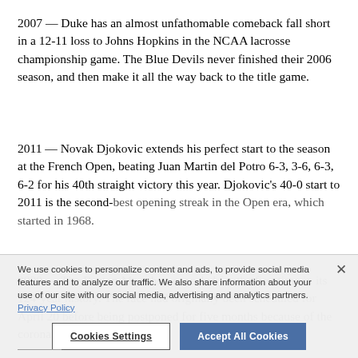2007 — Duke has an almost unfathomable comeback fall short in a 12-11 loss to Johns Hopkins in the NCAA lacrosse championship game. The Blue Devils never finished their 2006 season, and then make it all the way back to the title game.
2011 — Novak Djokovic extends his perfect start to the season at the French Open, beating Juan Martin del Potro 6-3, 3-6, 6-3, 6-2 for his 40th straight victory this year. Djokovic's 40-0 start to 2011 is the second-best opening streak in the Open era, which started in 1968.
2020 — The Boston Marathon canceled for the first time in its 124-year history. The race had originally been scheduled for April 20 before being postponed for five months because of the coronavirus pandemic.
We use cookies to personalize content and ads, to provide social media features and to analyze our traffic. We also share information about your use of our site with our social media, advertising and analytics partners. Privacy Policy
Cookies Settings | Accept All Cookies